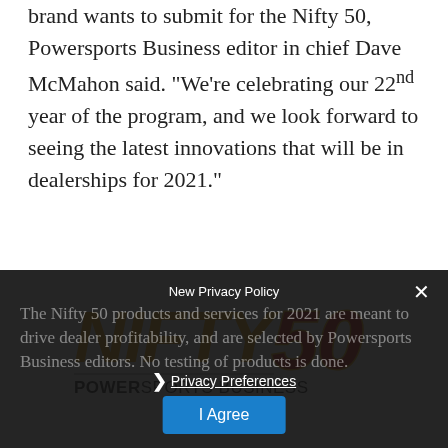brand wants to submit for the Nifty 50, Powersports Business editor in chief Dave McMahon said. “We’re celebrating our 22nd year of the program, and we look forward to seeing the latest innovations that will be in dealerships for 2021.”
[Figure (logo): Nifty 50 PowerSports Business logo — NIFTY in orange italic, 50 in red/orange with a flame-like design, POWERSPORTS BUSINESS in bold dark text below]
The Nifty 50 products and services for 2021 are meant to drive dealer profitability, and are selected by Powersports Business editors. No testing of products is done.
New Privacy Policy
Privacy Preferences
I Agree